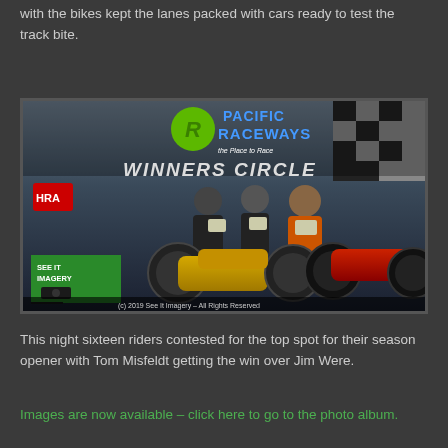with the bikes kept the lanes packed with cars ready to test the track bite.
[Figure (photo): Pacific Raceways Winners Circle photo showing three people posing with two motorcycles (a yellow and a red/chrome bike) under a Pacific Raceways banner. A 'See It Imagery' watermark and copyright notice '(c) 2019 See It Imagery - All Rights Reserved' appear on the photo.]
This night sixteen riders contested for the top spot for their season opener with Tom Misfeldt getting the win over Jim Were.
Images are now available – click here to go to the photo album.